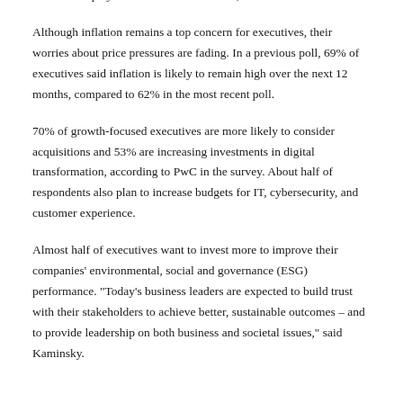be competitive, Kaminsky said. Even in a many economic and business environment, companies need to grow to survive. C-suite executives "play both offense and defense," she said.
Although inflation remains a top concern for executives, their worries about price pressures are fading. In a previous poll, 69% of executives said inflation is likely to remain high over the next 12 months, compared to 62% in the most recent poll.
70% of growth-focused executives are more likely to consider acquisitions and 53% are increasing investments in digital transformation, according to PwC in the survey. About half of respondents also plan to increase budgets for IT, cybersecurity, and customer experience.
Almost half of executives want to invest more to improve their companies' environmental, social and governance (ESG) performance. "Today's business leaders are expected to build trust with their stakeholders to achieve better, sustainable outcomes – and to provide leadership on both business and societal issues," said Kaminsky.